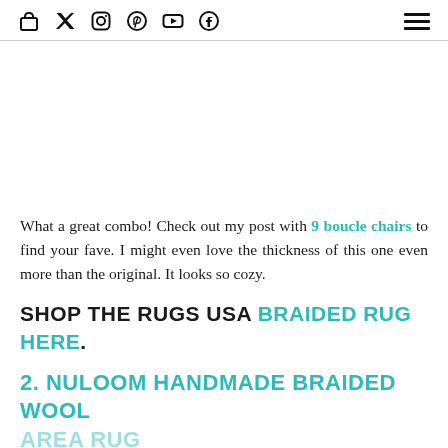social media icons: bag, twitter, instagram, pinterest, youtube, facebook; hamburger menu
What a great combo! Check out my post with 9 boucle chairs to find your fave. I might even love the thickness of this one even more than the original. It looks so cozy.
SHOP THE RUGS USA BRAIDED RUG HERE.
2. NULOOM HANDMADE BRAIDED WOOL AREA RUG